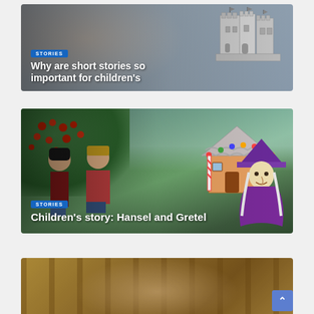[Figure (photo): Photo of a smiling girl with a cartoon castle illustration overlay. Blue 'STORIES' badge and title text overlaid at bottom-left.]
Why are short stories so important for children's
[Figure (illustration): Colorful cartoon illustration of Hansel and Gretel fairytale scene with children, a witch, and a gingerbread house. Blue 'STORIES' badge and title text overlaid at bottom-left.]
Children's story: Hansel and Gretel
[Figure (photo): Photo of a child in an autumn forest setting, partially visible (cropped at bottom of page).]